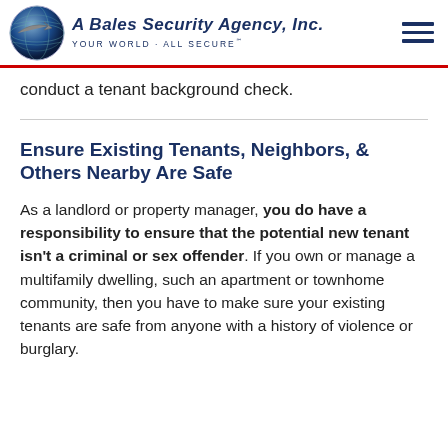A Bales Security Agency, Inc. YOUR WORLD - ALL SECURE℠
conduct a tenant background check.
Ensure Existing Tenants, Neighbors, & Others Nearby Are Safe
As a landlord or property manager, you do have a responsibility to ensure that the potential new tenant isn't a criminal or sex offender. If you own or manage a multifamily dwelling, such an apartment or townhome community, then you have to make sure your existing tenants are safe from anyone with a history of violence or burglary.